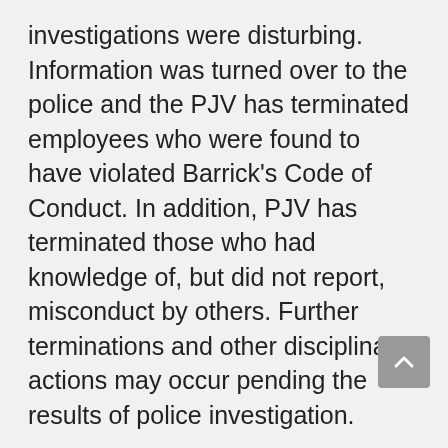investigations were disturbing. Information was turned over to the police and the PJV has terminated employees who were found to have violated Barrick's Code of Conduct. In addition, PJV has terminated those who had knowledge of, but did not report, misconduct by others. Further terminations and other disciplinary actions may occur pending the results of police investigation.
Sexual violence against women is a pervasive problem in PNG. Barrick and the PJV are working to towards solutions with the community, our own workforce and others in order to address this problem.
Additional Barrick actions include: